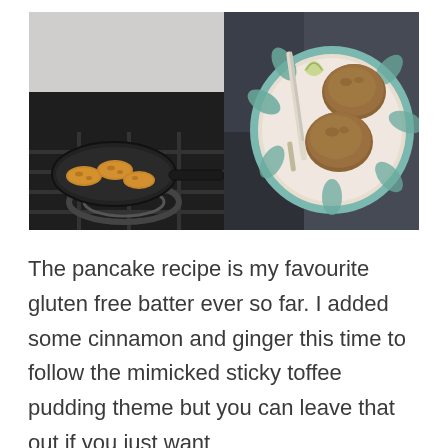[Figure (photo): Two food photos side by side: left shows pancakes cooking in a dark cast iron pan on a gas stove; right shows baked goods (round rolls/scones) on a decorative plate with a knife]
The pancake recipe is my favourite gluten free batter ever so far. I added some cinnamon and ginger this time to follow the mimicked sticky toffee pudding theme but you can leave that out if you just want